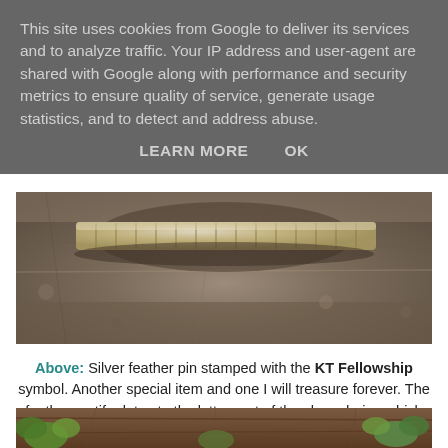This site uses cookies from Google to deliver its services and to analyze traffic. Your IP address and user-agent are shared with Google along with performance and security metrics to ensure quality of service, generate usage statistics, and to detect and address abuse.
LEARN MORE   OK
[Figure (photo): Close-up macro photo of a silver feather pin / brooch resting on a rough stone or concrete surface. The pin shows fine ridged detail and engraving, photographed with shallow depth of field.]
Above: Silver feather pin stamped with the KT Fellowship symbol. Another special item and one I will treasure forever. The feather motif relates to the latter part of the show during which Kate Bush performed An Endless Sky of Honey from Aerial - which is largely inspired by birds and birdsong.
[Figure (photo): Close-up photo of green ivy or plant leaves growing against a rough brown tree bark surface.]